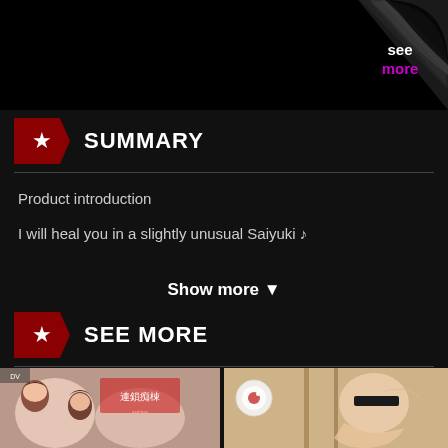[Figure (screenshot): Top banner area showing a dark/black image with a page-curl 'see more' graphic in the top-right corner. The curl shows white and pink text: 'see more'.]
SUMMARY
Product introduction
I will heal you in a slightly unusual Saiyuki ♪
Show more ▼
SEE MORE
[Figure (illustration): Left thumbnail: anime-style illustration with Japanese characters showing manga artwork with female characters]
[Figure (illustration): Right thumbnail: anime-style illustration showing a figure with a blindfold]